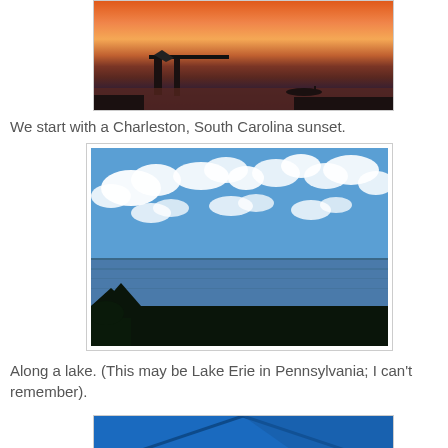[Figure (photo): A sunset over water with a bridge silhouette and a small boat, orange and pink sky reflected on the water.]
We start with a Charleston, South Carolina sunset.
[Figure (photo): A lake scene with blue sky, white puffy clouds reflected in calm water, dark treeline silhouette at bottom.]
Along a lake. (This may be Lake Erie in Pennsylvania; I can't remember).
[Figure (photo): Partial view of a blue tent or canopy structure.]